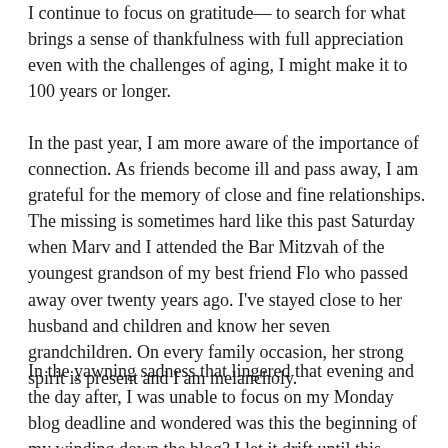I continue to focus on gratitude— to search for what brings a sense of thankfulness with full appreciation even with the challenges of aging, I might make it to 100 years or longer.
In the past year, I am more aware of the importance of connection. As friends become ill and pass away, I am grateful for the memory of close and fine relationships. The missing is sometimes hard like this past Saturday when Marv and I attended the Bar Mitzvah of the youngest grandson of my best friend Flo who passed away over twenty years ago. I've stayed close to her husband and children and know her seven grandchildren. On every family occasion, her strong spirit is present and I am melancholy.
In the yawning sadness that lingered that evening and the day after, I was unable to focus on my Monday blog deadline and wondered was this the beginning of my winding down the blog? I let it drift until this morning when I began to write and